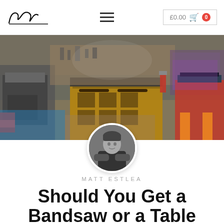ME | £0.00 | 0
[Figure (photo): Wide-angle photo of a woodworking workshop interior with a large wooden workbench in the center, tools on pegboards, and various woodworking equipment including a bandsaw on the right.]
[Figure (photo): Circular black-and-white portrait photo of Matt Estlea, a man standing with arms crossed.]
MATT ESTLEA
Should You Get a Bandsaw or a Table Saw?